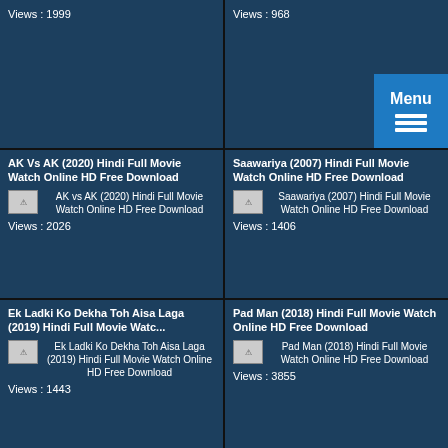Views : 1999
Views : 968
AK Vs AK (2020) Hindi Full Movie Watch Online HD Free Download
[Figure (screenshot): Thumbnail image for AK vs AK (2020) Hindi Full Movie Watch Online HD Free Download]
Views : 2026
Saawariya (2007) Hindi Full Movie Watch Online HD Free Download
[Figure (screenshot): Thumbnail image for Saawariya (2007) Hindi Full Movie Watch Online HD Free Download]
Views : 1406
Ek Ladki Ko Dekha Toh Aisa Laga (2019) Hindi Full Movie Watc...
[Figure (screenshot): Thumbnail image for Ek Ladki Ko Dekha Toh Aisa Laga (2019) Hindi Full Movie Watch Online HD Free Download]
Views : 1443
Pad Man (2018) Hindi Full Movie Watch Online HD Free Download
[Figure (screenshot): Thumbnail image for Pad Man (2018) Hindi Full Movie Watch Online HD Free Download]
Views : 3855